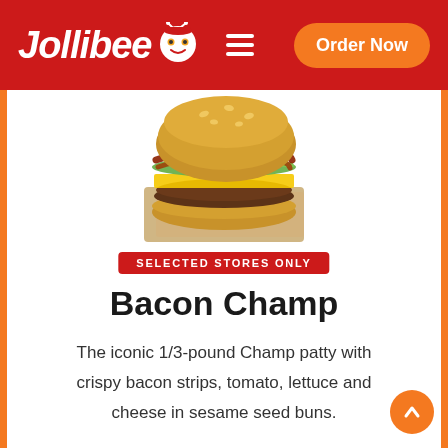Jollibee — Order Now
[Figure (photo): Photo of a Jollibee Bacon Champ burger on kraft paper wrapper, showing sesame seed bun, bacon strips, lettuce, tomato, cheese, and beef patty]
SELECTED STORES ONLY
Bacon Champ
The iconic 1/3-pound Champ patty with crispy bacon strips, tomato, lettuce and cheese in sesame seed buns.